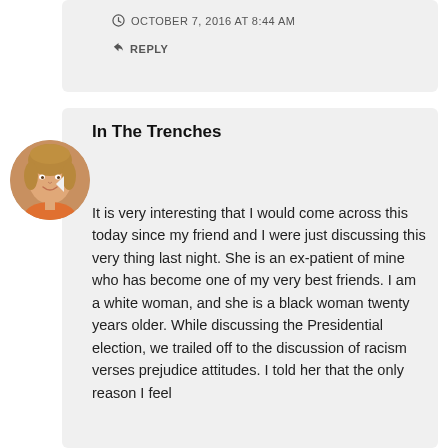OCTOBER 7, 2016 AT 8:44 AM
REPLY
In The Trenches
It is very interesting that I would come across this today since my friend and I were just discussing this very thing last night. She is an ex-patient of mine who has become one of my very best friends. I am a white woman, and she is a black woman twenty years older. While discussing the Presidential election, we trailed off to the discussion of racism verses prejudice attitudes. I told her that the only reason I feel